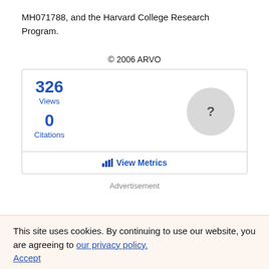MH071788, and the Harvard College Research Program.
© 2006 ARVO
[Figure (infographic): Metrics box showing 326 Views and 0 Citations with a grey circle containing a question mark, and a 'View Metrics' link with bar chart icon]
Advertisement
This site uses cookies. By continuing to use our website, you are agreeing to our privacy policy. Accept